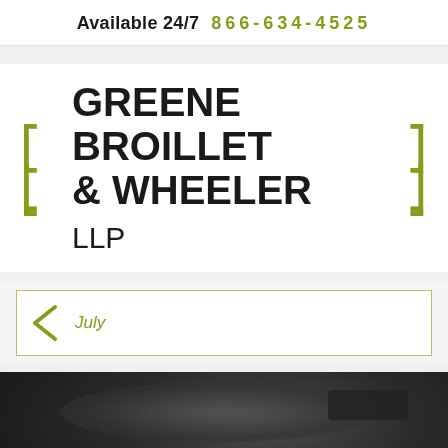Available 24/7  866-634-4525
[Figure (logo): Greene Broillet & Wheeler LLP law firm logo with green bracket decorations on left and right]
July
[Figure (photo): Dark interior car photo with text overlay reading: WHAT HAPPENS IF YOU ARE IN A CAR ACCIDENT INVOLVING]
... Text Us Now